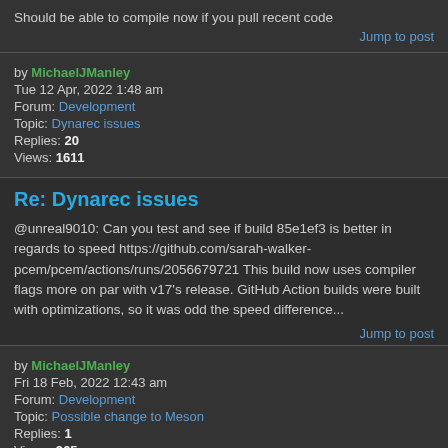Should be able to compile now if you pull recent code
Jump to post
by MichaelJManley
Tue 12 Apr, 2022 1:48 am
Forum: Development
Topic: Dynarec issues
Replies: 20
Views: 1611
Re: Dynarec issues
@unreal9010: Can you test and see if build 85e1ef3 is better in regards to speed https://github.com/sarah-walker-pcem/pcem/actions/runs/2056679721 This build now uses compiler flags more on par with v17's release. GitHub Action builds were built with optimizations, so it was odd the speed difference...
Jump to post
by MichaelJManley
Fri 18 Feb, 2022 12:43 am
Forum: Development
Topic: Possible change to Meson
Replies: 1
Views: 965
Possible change to Meson